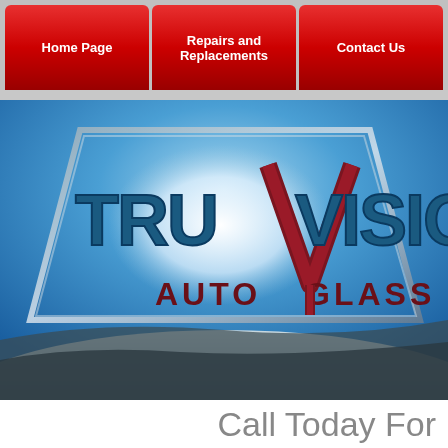Home Page | Repairs and Replacements | Contact Us
[Figure (logo): TruVision Auto Glass logo on windshield background with blue sky and gradient lighting]
Call Today For
(425)